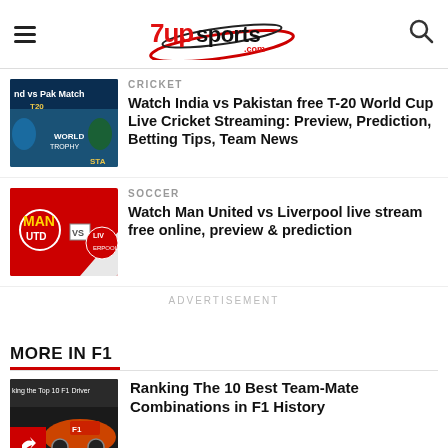7upsports.com
CRICKET
Watch India vs Pakistan free T-20 World Cup Live Cricket Streaming: Preview, Prediction, Betting Tips, Team News
SOCCER
Watch Man United vs Liverpool live stream free online, preview & prediction
ADVERTISEMENT
MORE IN F1
Ranking The 10 Best Team-Mate Combinations in F1 History